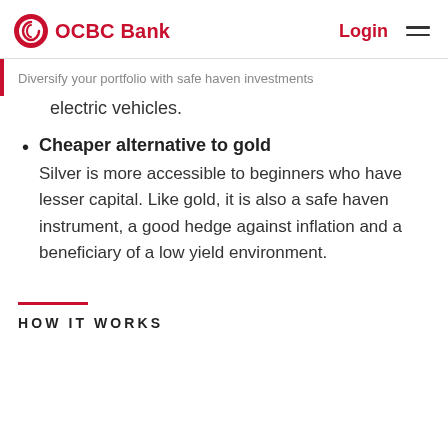OCBC Bank | Login
Diversify your portfolio with safe haven investments
electric vehicles.
Cheaper alternative to gold
Silver is more accessible to beginners who have lesser capital. Like gold, it is also a safe haven instrument, a good hedge against inflation and a beneficiary of a low yield environment.
HOW IT WORKS